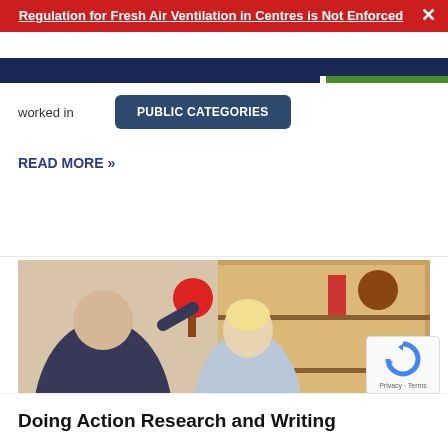Regulation for Fresh Air Ventilation in Centres is Not Enforced
worked in
PUBLIC CATEGORIES
READ MORE »
[Figure (photo): Two young children playing in a daycare/childcare centre with wooden shelving in the background. One child is holding a red maraca or rattle over another child who is playing.]
Privacy · Terms
Doing Action Research and Writing